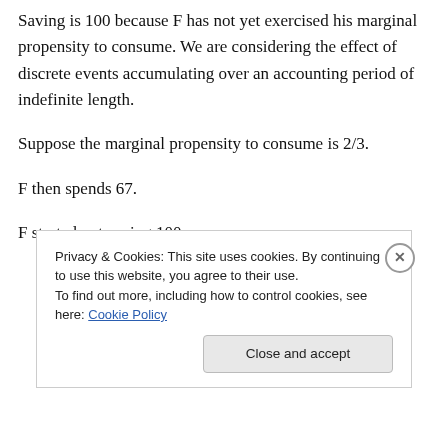Saving is 100 because F has not yet exercised his marginal propensity to consume. We are considering the effect of discrete events accumulating over an accounting period of indefinite length.
Suppose the marginal propensity to consume is 2/3.
F then spends 67.
F started out saving 100.
Privacy & Cookies: This site uses cookies. By continuing to use this website, you agree to their use.
To find out more, including how to control cookies, see here: Cookie Policy